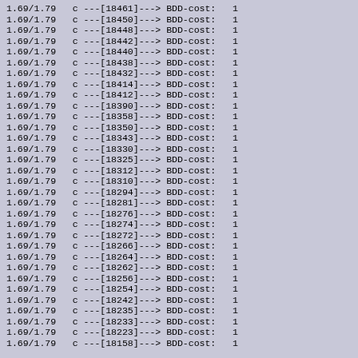1.69/1.79   c ---[18461]---> BDD-cost:   1
1.69/1.79   c ---[18450]---> BDD-cost:   1
1.69/1.79   c ---[18448]---> BDD-cost:   1
1.69/1.79   c ---[18442]---> BDD-cost:   1
1.69/1.79   c ---[18440]---> BDD-cost:   1
1.69/1.79   c ---[18438]---> BDD-cost:   1
1.69/1.79   c ---[18432]---> BDD-cost:   1
1.69/1.79   c ---[18414]---> BDD-cost:   1
1.69/1.79   c ---[18412]---> BDD-cost:   1
1.69/1.79   c ---[18390]---> BDD-cost:   1
1.69/1.79   c ---[18358]---> BDD-cost:   1
1.69/1.79   c ---[18350]---> BDD-cost:   1
1.69/1.79   c ---[18343]---> BDD-cost:   1
1.69/1.79   c ---[18330]---> BDD-cost:   1
1.69/1.79   c ---[18325]---> BDD-cost:   1
1.69/1.79   c ---[18312]---> BDD-cost:   1
1.69/1.79   c ---[18310]---> BDD-cost:   1
1.69/1.79   c ---[18294]---> BDD-cost:   1
1.69/1.79   c ---[18281]---> BDD-cost:   1
1.69/1.79   c ---[18276]---> BDD-cost:   1
1.69/1.79   c ---[18274]---> BDD-cost:   1
1.69/1.79   c ---[18272]---> BDD-cost:   1
1.69/1.79   c ---[18266]---> BDD-cost:   1
1.69/1.79   c ---[18264]---> BDD-cost:   1
1.69/1.79   c ---[18262]---> BDD-cost:   1
1.69/1.79   c ---[18256]---> BDD-cost:   1
1.69/1.79   c ---[18254]---> BDD-cost:   1
1.69/1.79   c ---[18242]---> BDD-cost:   1
1.69/1.79   c ---[18235]---> BDD-cost:   1
1.69/1.79   c ---[18233]---> BDD-cost:   1
1.69/1.79   c ---[18223]---> BDD-cost:   1
1.69/1.79   c ---[18158]---> BDD-cost:   1